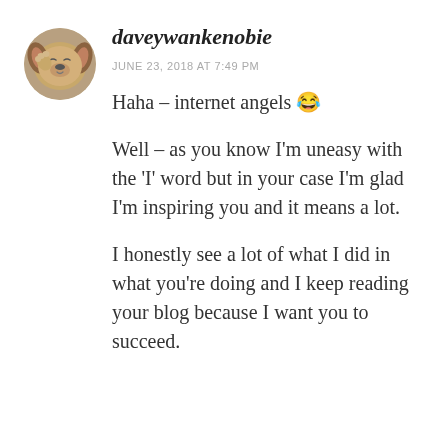[Figure (photo): Circular avatar photo of a dog (appears to be a beagle or similar breed) with its paw raised near its face]
daveywankenobie
JUNE 23, 2018 AT 7:49 PM
Haha – internet angels 😂
Well – as you know I'm uneasy with the 'I' word but in your case I'm glad I'm inspiring you and it means a lot.
I honestly see a lot of what I did in what you're doing and I keep reading your blog because I want you to succeed.